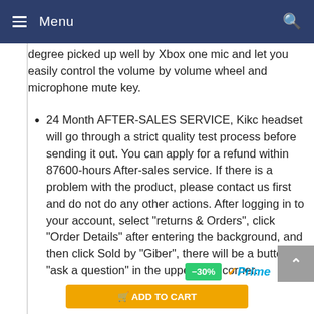Menu
degree picked up well by Xbox one mic and let you easily control the volume by volume wheel and microphone mute key.
24 Month AFTER-SALES SERVICE, Kikc headset will go through a strict quality test process before sending it out. You can apply for a refund within 87600-hours After-sales service. If there is a problem with the product, please contact us first and do not do any other actions. After logging in to your account, select "returns & Orders", click "Order Details" after entering the background, and then click Sold by "Giber", there will be a button "ask a question" in the upper right corner.